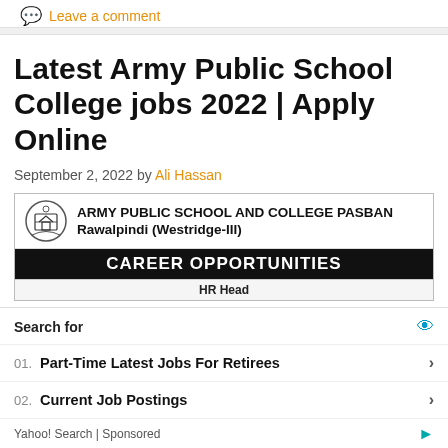Engineer jobs Islamabad 2022
Leave a comment
Latest Army Public School College jobs 2022 | Apply Online
September 2, 2022 by Ali Hassan
[Figure (infographic): Army Public School and College Pasban Rawalpindi (Westridge-III) job advertisement header showing logo, title, and Career Opportunities banner with HR Head position listed]
[Figure (screenshot): Yahoo Search sponsored ad widget showing Search for label with eye icon, listing 01. Part-Time Latest Jobs For Retirees and 02. Current Job Postings with arrows, and Yahoo! Search | Sponsored footer]